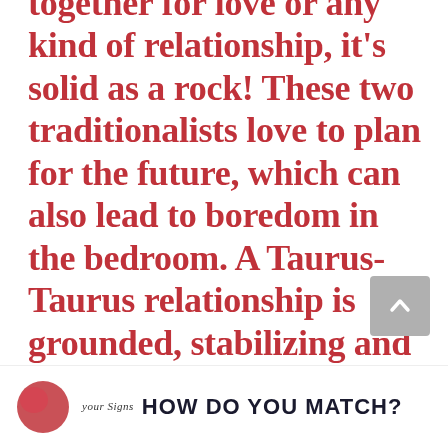together for love or any kind of relationship, it's solid as a rock! These two traditionalists love to plan for the future, which can also lead to boredom in the bedroom. A Taurus-Taurus relationship is grounded, stabilizing and practical, since you both understand each other's need for long-term security.
[Figure (other): Gray scroll-to-top button with upward chevron arrow]
[Figure (other): Footer bar with red blob logo, italic site label 'your signs' and bold uppercase text 'HOW DO YOU MATCH?']